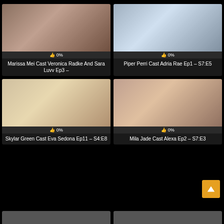[Figure (screenshot): Video thumbnail grid showing adult video content previews with view counts, durations, like percentages, and titles]
Marissa Mei Cast Veronica Radke And Sara Luvv Ep3 –
Piper Perri Cast Adria Rae Ep1 – S7:E5
Skylar Green Cast Eva Sedona Ep11 – S4:E8
Mila Jade Cast Alexa Ep2 – S7:E3